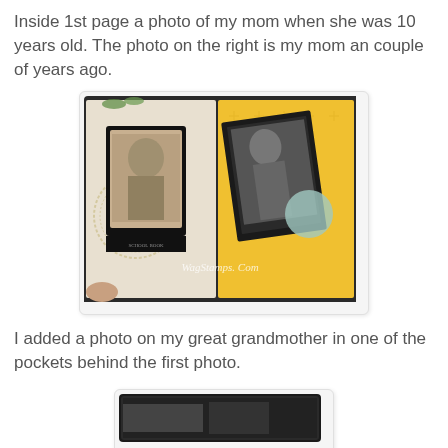Inside 1st page a photo of my mom when she was 10 years old. The photo on the right is my mom an couple of years ago.
[Figure (photo): Open scrapbook showing two vintage photos mounted on decorative pages — left page has a young girl photo with black frame and lace doily, right page has a black-and-white photo of a woman with a child on yellow patterned paper. Watermark reads 'WagStamps.Com'.]
I added a photo on my great grandmother in one of the pockets behind the first photo.
[Figure (photo): Partially visible photo at the bottom of the page, mostly cropped.]